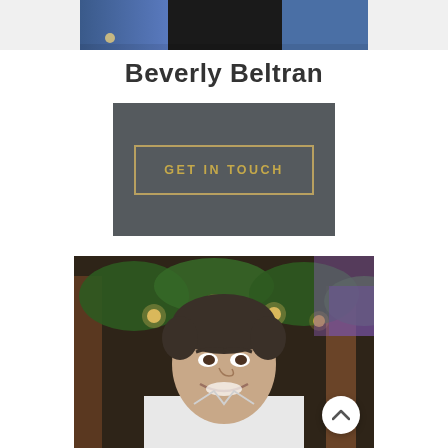[Figure (photo): Partial photo of a person wearing a denim jacket over a black top, cropped at chest level, shown at the top of the page]
Beverly Beltran
[Figure (other): Dark gray card/button with a gold-bordered rectangle containing the text GET IN TOUCH in gold uppercase letters]
[Figure (photo): Professional photo of a smiling man with short dark hair wearing a white shirt, photographed outdoors with greenery, hanging lights, and wooden architectural elements in the background. A white circular scroll-up button is visible in the lower right corner of the photo.]